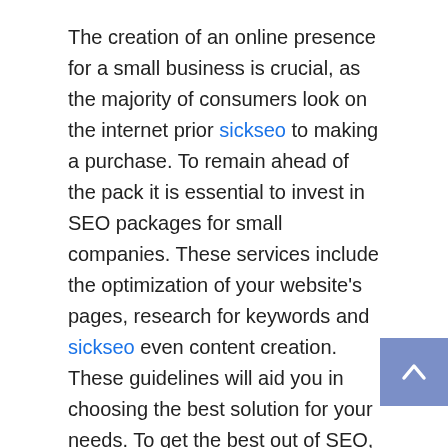The creation of an online presence for a small business is crucial, as the majority of consumers look on the internet prior sickseo to making a purchase. To remain ahead of the pack it is essential to invest in SEO packages for small companies. These services include the optimization of your website's pages, research for keywords and sickseo even content creation. These guidelines will aid you in choosing the best solution for your needs. To get the best out of SEO, it is possible to also hire an agency that specializes in digital marketing.
There are many reasons for selecting an SEO package is important. First, your business will be provided with a comprehensive competitor analysis report. The report will give you in-depth information about the strategies employed by your competition. This report will allow you to make better business decisions and will help you get a better market position. Small business SEO plans will